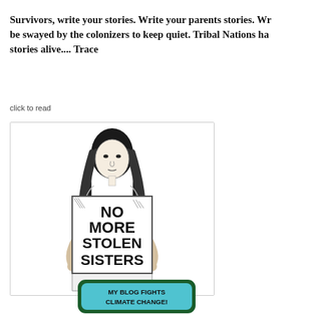Survivors, write your stories. Write your parents stories. Wr... be swayed by the colonizers to keep quiet. Tribal Nations ha... stories alive.... Trace
click to read
[Figure (illustration): Line drawing illustration of a woman with long dark hair holding a large sign that reads 'NO MORE STOLEN SISTERS']
[Figure (illustration): Badge/patch graphic with text 'MY BLOG FIGHTS CLIMATE CHANGE!' on a teal/blue background with dark green border]